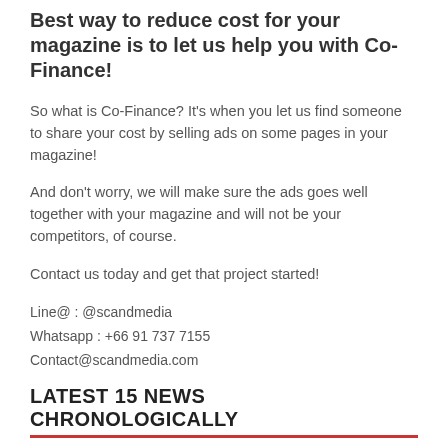Best way to reduce cost for your magazine is to let us help you with Co-Finance!
So what is Co-Finance? It’s when you let us find someone to share your cost by selling ads on some pages in your magazine!
And don’t worry, we will make sure the ads goes well together with your magazine and will not be your competitors, of course.
Contact us today and get that project started!
Line@ : @scandmedia
Whatsapp : +66 91 737 7155
Contact@scandmedia.com
LATEST 15 NEWS CHRONOLOGICALLY